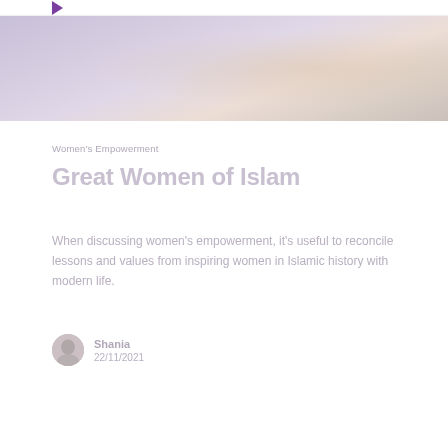[Figure (photo): Hero image with soft purple and beige tones, partially visible figure in background]
Women's Empowerment
Great Women of Islam
When discussing women's empowerment, it's useful to reconcile lessons and values from inspiring women in Islamic history with modern life.
Shania
22/11/2021